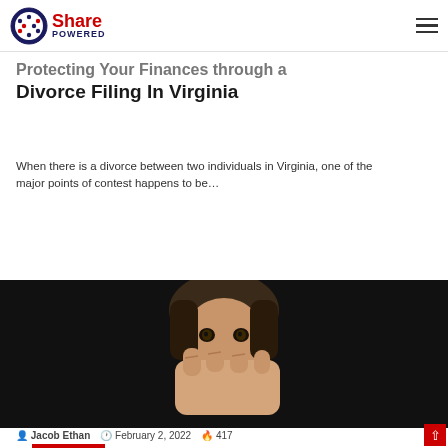Share Powered
Divorce Filing In Virginia
When there is a divorce between two individuals in Virginia, one of the major points of contest happens to be…
Read More »
[Figure (photo): A young girl with a hand covering her mouth, dark background, depicting distress.]
Jacob Ethan  February 2, 2022  417